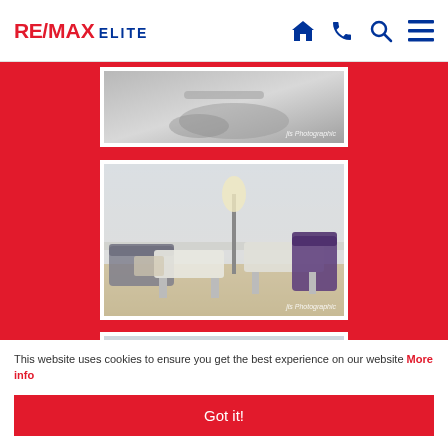RE/MAX ELITE
[Figure (photo): Interior room photo with sink/basin detail - partial view]
[Figure (photo): Interior room photo showing massage/treatment room with tables, floor lamp, and wooden flooring]
[Figure (photo): Interior room photo showing treatment/utility room with purple draped table, window, cabinets and equipment]
This website uses cookies to ensure you get the best experience on our website More info
Got it!